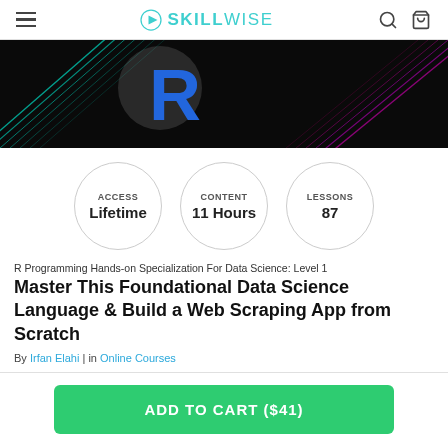SKILLWISE
[Figure (screenshot): Dark banner image showing the R programming language logo in blue on a black background with cyan and magenta diagonal lines/graphics]
ACCESS Lifetime | CONTENT 11 Hours | LESSONS 87
R Programming Hands-on Specialization For Data Science: Level 1
Master This Foundational Data Science Language & Build a Web Scraping App from Scratch
By Irfan Elahi | in Online Courses
ADD TO CART ($41)